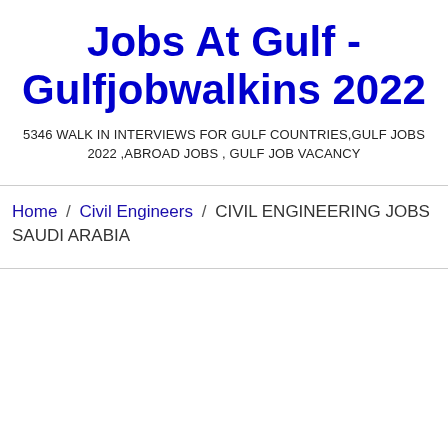Jobs At Gulf - Gulfjobwalkins 2022
5346 WALK IN INTERVIEWS FOR GULF COUNTRIES,GULF JOBS 2022 ,ABROAD JOBS , GULF JOB VACANCY
Home / Civil Engineers / CIVIL ENGINEERING JOBS SAUDI ARABIA